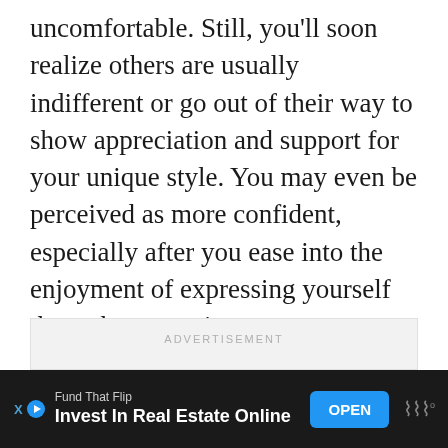uncomfortable. Still, you'll soon realize others are usually indifferent or go out of their way to show appreciation and support for your unique style. You may even be perceived as more confident, especially after you ease into the enjoyment of expressing yourself through your attire.
[Figure (other): Advertisement placeholder box with 'ADVERTISEMENT' label in gray, followed by an empty light gray rectangle]
[Figure (other): Bottom ad banner: dark background with 'Fund That Flip' source label, 'Invest In Real Estate Online' headline, blue OPEN button, and brand logo with wave symbols]